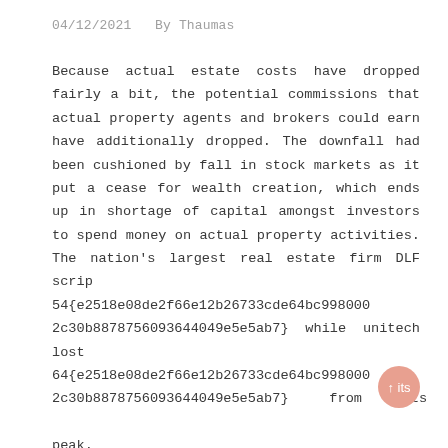04/12/2021   By Thaumas
Because actual estate costs have dropped fairly a bit, the potential commissions that actual property agents and brokers could earn have additionally dropped. The downfall had been cushioned by fall in stock markets as it put a cease for wealth creation, which ends up in shortage of capital amongst investors to spend money on actual property activities. The nation's largest real estate firm DLF scrip                                                                lost 54{e2518e08de2f66e12b26733cde64bc9980002c30b8878756093644049e5e5ab7} while unitech lost 64{e2518e08de2f66e12b26733cde64bc9980002c30b8878756093644049e5e5ab7}    from its peak.